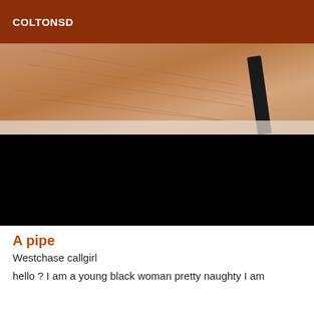COLTONSD
[Figure (photo): Close-up photo of a person's thigh/upper leg with a dark band/strap across it, top portion shows skin, bottom portion is black (redacted/obscured).]
A pipe
Westchase callgirl
hello ? I am a young black woman pretty naughty I am